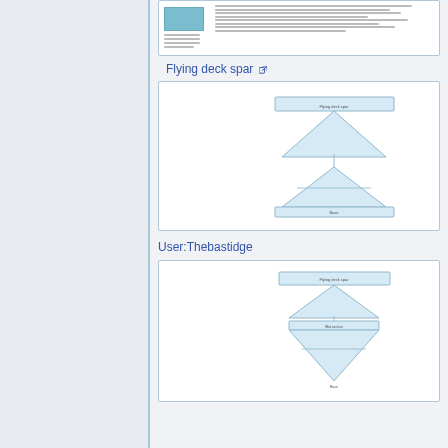[Figure (screenshot): Thumbnail of a document page with blue rectangle header and text columns]
Flying deck spar (external link)
[Figure (engineering-diagram): Flying deck spar diagram showing hourglass/bowtie shaped spar structure with horizontal platform at top and base]
User:Thebastidge
[Figure (engineering-diagram): User:Thebastidge version of spar diagram showing diamond/double-cone shaped spar structure]